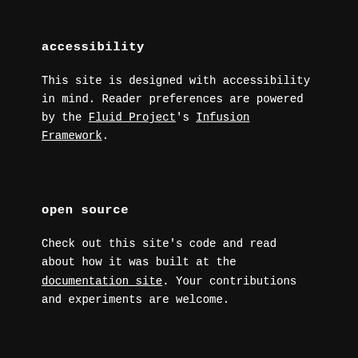accessibility
This site is designed with accessibility in mind. Reader preferences are powered by the Fluid Project's Infusion Framework.
open source
Check out this site's code and read about how it was built at the documentation site. Your contributions and experiments are welcome.